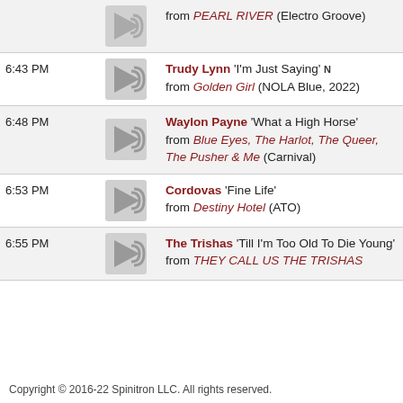from PEARL RIVER (Electro Groove)
6:43 PM — Trudy Lynn 'I'm Just Saying' N from Golden Girl (NOLA Blue, 2022)
6:48 PM — Waylon Payne 'What a High Horse' from Blue Eyes, The Harlot, The Queer, The Pusher & Me (Carnival)
6:53 PM — Cordovas 'Fine Life' from Destiny Hotel (ATO)
6:55 PM — The Trishas 'Till I'm Too Old To Die Young' from THEY CALL US THE TRISHAS
Copyright © 2016-22 Spinitron LLC. All rights reserved.